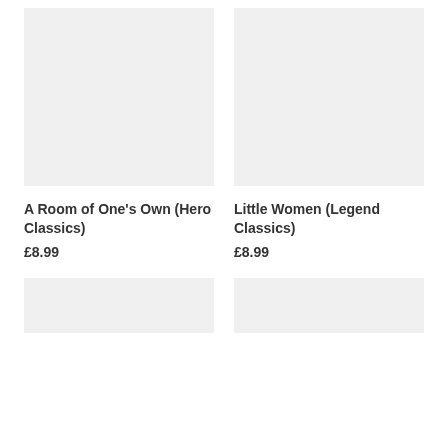[Figure (illustration): Book cover placeholder image, light gray rectangle, for A Room of One's Own (Hero Classics)]
A Room of One's Own (Hero Classics)
£8.99
[Figure (illustration): Book cover placeholder image, light gray rectangle, for Little Women (Legend Classics)]
Little Women (Legend Classics)
£8.99
[Figure (illustration): Book cover placeholder image, light gray rectangle, cropped at bottom]
[Figure (illustration): Book cover placeholder image, light gray rectangle, cropped at bottom]